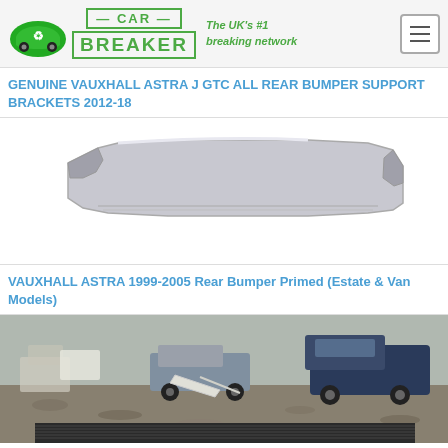[Figure (logo): Car Breaker website header with green car/recycling logo, green text logo 'CAR BREAKER', tagline 'The UK's #1 breaking network', and hamburger menu icon]
GENUINE VAUXHALL ASTRA J GTC ALL REAR BUMPER SUPPORT BRACKETS 2012-18
[Figure (photo): Silver/grey Vauxhall Astra rear bumper, primed, shown on white background]
VAUXHALL ASTRA 1999-2005 Rear Bumper Primed (Estate & Van Models)
[Figure (photo): Outdoor photo of a car part, showing what appears to be a bumper or trim piece on the ground with vehicles in the background]